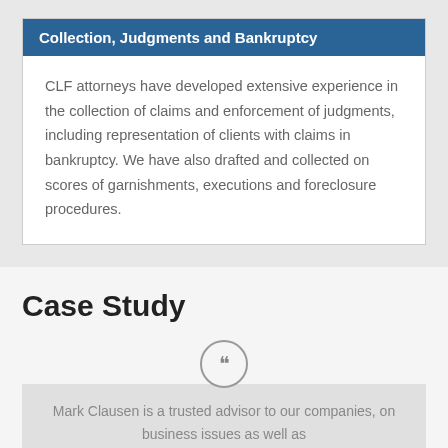Collection, Judgments and Bankruptcy
CLF attorneys have developed extensive experience in the collection of claims and enforcement of judgments, including representation of clients with claims in bankruptcy. We have also drafted and collected on scores of garnishments, executions and foreclosure procedures.
Case Study
Mark Clausen is a trusted advisor to our companies, on business issues as well as